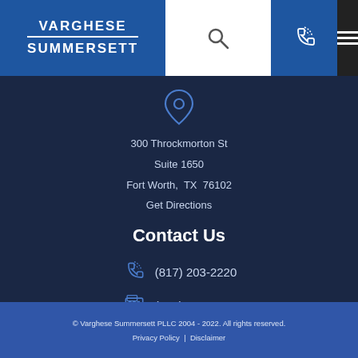VARGHESE SUMMERSETT
[Figure (logo): Varghese Summersett law firm logo with search, phone, and menu icons in header navigation bar]
[Figure (infographic): Location pin icon above address]
300 Throckmorton St
Suite 1650
Fort Worth, TX 76102
Get Directions
Contact Us
(817) 203-2220
(817) 900-9129
© Varghese Summersett PLLC 2004 - 2022. All rights reserved.
Privacy Policy | Disclaimer